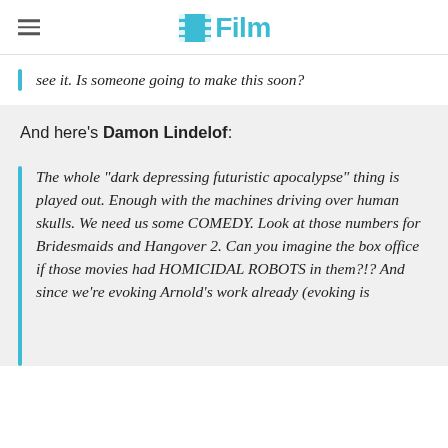/Film
see it. Is someone going to make this soon?
And here's Damon Lindelof:
The whole "dark depressing futuristic apocalypse" thing is played out. Enough with the machines driving over human skulls. We need us some COMEDY. Look at those numbers for Bridesmaids and Hangover 2. Can you imagine the box office if those movies had HOMICIDAL ROBOTS in them?!? And since we're evoking Arnold's work already (evoking is